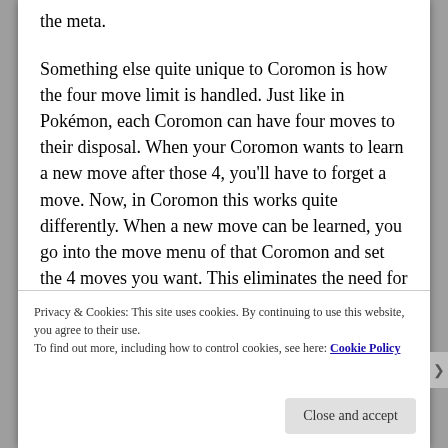the meta.
Something else quite unique to Coromon is how the four move limit is handled. Just like in Pokémon, each Coromon can have four moves to their disposal. When your Coromon wants to learn a new move after those 4, you'll have to forget a move. Now, in Coromon this works quite differently. When a new move can be learned, you go into the move menu of that Coromon and set the 4 moves you want. This eliminates the need for a move deleter and a move relearner guy in the world. Since, you can choose the 4 moves you want at any moment outside a battle. So, when you catch a wild Coromon, and
Privacy & Cookies: This site uses cookies. By continuing to use this website, you agree to their use.
To find out more, including how to control cookies, see here: Cookie Policy
Close and accept